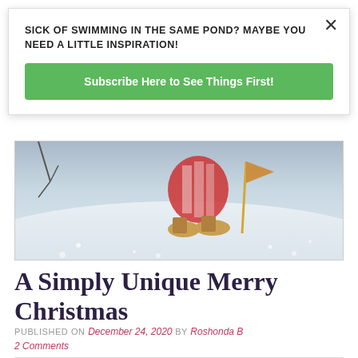SICK OF SWIMMING IN THE SAME POND? MAYBE YOU NEED A LITTLE INSPIRATION!
Subscribe Here to See Things First!
[Figure (photo): Close-up photo of a Christmas figurine/ornament in snow, showing boots/feet and a small flag/stick, shallow depth of field with snow in foreground and background.]
A Simply Unique Merry Christmas
PUBLISHED ON December 24, 2020 by Roshonda B
2 Comments